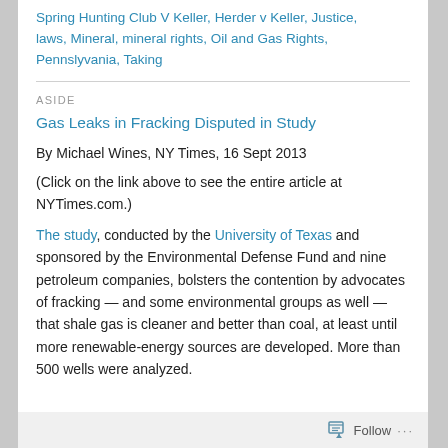Spring Hunting Club V Keller, Herder v Keller, Justice, laws, Mineral, mineral rights, Oil and Gas Rights, Pennslyvania, Taking
ASIDE
Gas Leaks in Fracking Disputed in Study
By Michael Wines, NY Times, 16 Sept 2013
(Click on the link above to see the entire article at NYTimes.com.)
The study, conducted by the University of Texas and sponsored by the Environmental Defense Fund and nine petroleum companies, bolsters the contention by advocates of fracking — and some environmental groups as well — that shale gas is cleaner and better than coal, at least until more renewable-energy sources are developed. More than 500 wells were analyzed.
Follow